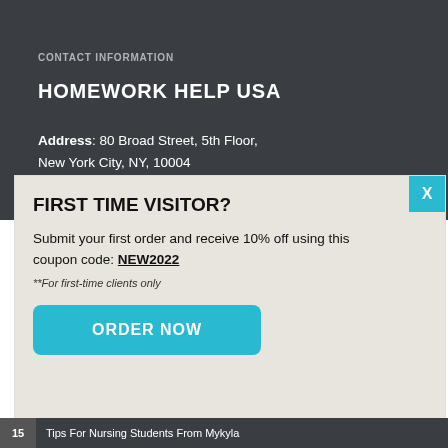CONTACT INFORMATION
HOMEWORK HELP USA
Address: 80 Broad Street, 5th Floor, New York City, NY, 10004
FIRST TIME VISITOR?
Submit your first order and receive 10% off using this coupon code: NEW2022
**For first-time clients only
ORDER NOW
15 Tips For Nursing Students From Mykyla